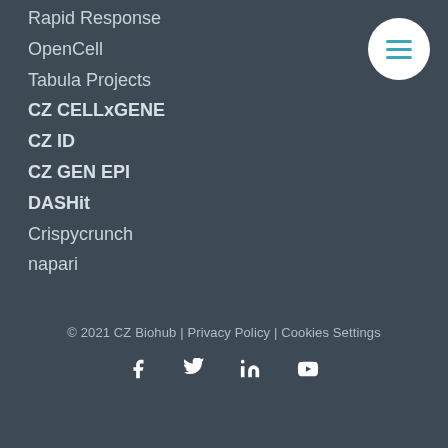Rapid Response
OpenCell
Tabula Projects
CZ CELLxGENE
CZ ID
CZ GEN EPI
DASHit
Crispycrunch
napari
© 2021 CZ Biohub | Privacy Policy | Cookies Settings